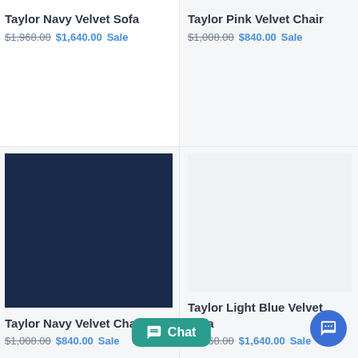Taylor Navy Velvet Sofa
$1,968.00  $1,640.00 Sale
Taylor Pink Velvet Chair
$1,008.00  $840.00 Sale
Taylor Navy Velvet Chair
$1,008.00  $840.00 Sale
Taylor Light Blue Velvet Sofa
$1,968.00  $1,640.00 Sale